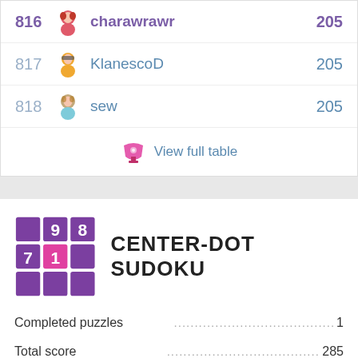| Rank | Player | Total score |
| --- | --- | --- |
| 816 | charawrawr | 205 |
| 817 | KlanescoD | 205 |
| 818 | sew | 205 |
View full table
[Figure (logo): Center-Dot Sudoku game logo with purple grid tiles showing numbers 9, 8, 7, 1]
CENTER-DOT SUDOKU
Completed puzzles...1
Total score...285
| Rank | Player | Total score |
| --- | --- | --- |